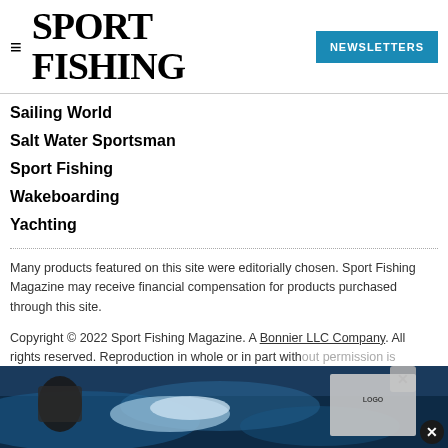SPORT FISHING | NEWSLETTERS
Sailing World
Salt Water Sportsman
Sport Fishing
Wakeboarding
Yachting
Many products featured on this site were editorially chosen. Sport Fishing Magazine may receive financial compensation for products purchased through this site.
Copyright © 2022 Sport Fishing Magazine. A Bonnier LLC Company. All rights reserved. Reproduction in whole or in part without permission is prohibited.
[Figure (photo): Advertisement banner at bottom showing fishing/ocean scene with anglers and a logo in the bottom right corner]